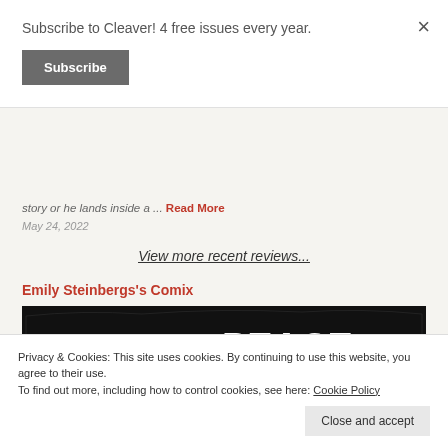Subscribe to Cleaver! 4 free issues every year.
Subscribe
story or he lands inside a ... Read More
May 24, 2022
View more recent reviews...
Emily Steinbergs's Comix
[Figure (illustration): Comic book cover reading WAR AND PEACE 2.0 in large white handwritten letters on a black background]
Privacy & Cookies: This site uses cookies. By continuing to use this website, you agree to their use.
To find out more, including how to control cookies, see here: Cookie Policy
Close and accept